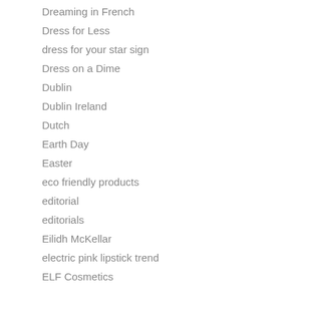Dreamgirls
Dreaming in French
Dress for Less
dress for your star sign
Dress on a Dime
Dublin
Dublin Ireland
Dutch
Earth Day
Easter
eco friendly products
editorial
editorials
Eilidh McKellar
electric pink lipstick trend
ELF Cosmetics